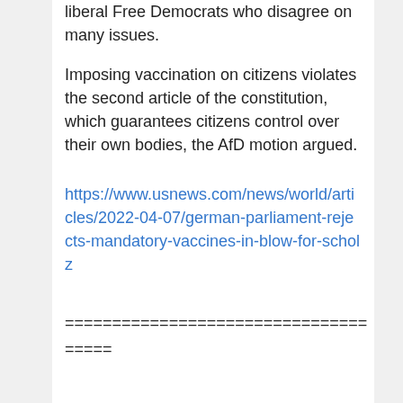liberal Free Democrats who disagree on many issues.
Imposing vaccination on citizens violates the second article of the constitution, which guarantees citizens control over their own bodies, the AfD motion argued.
https://www.usnews.com/news/world/articles/2022-04-07/german-parliament-rejects-mandatory-vaccines-in-blow-for-scholz
================================
=====